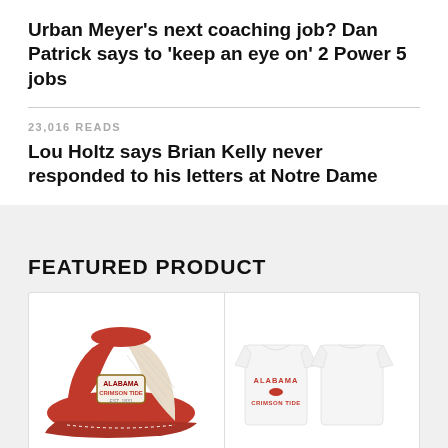Urban Meyer's next coaching job? Dan Patrick says to 'keep an eye on' 2 Power 5 jobs
23,016 READS
Lou Holtz says Brian Kelly never responded to his letters at Notre Dame
FEATURED PRODUCT
[Figure (photo): Product card showing a red Alabama Crimson Tide '47 baseball cap with mesh back and patch logo, sold by Fanatics. Text below: Fanatics / Men's '47 Crimson Alabama Crimson]
[Figure (photo): Product card showing a white Men's Nike Alabama Crimson Tide t-shirt (front and back views) with ALABAMA CRIMSON TIDE text and Nike logo, sold by Fanatics. Text below: Fanatics / Men's Nike White Alabama Crimson]
Fanatics
Men's '47 Crimson Alabama Crimson
Fanatics
Men's Nike White Alabama Crimson